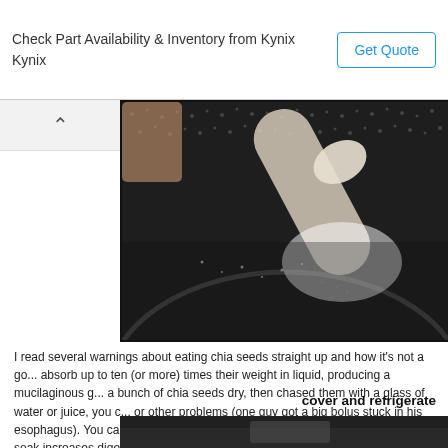Check Part Availability & Inventory from Kynix
Kynix
Get Quote
[Figure (photo): Close-up photo of chia seeds in a glass bowl with milk being poured and a spoon visible]
I read several warnings about eating chia seeds straight up and how it's not a go... absorb up to ten (or more) times their weight in liquid, producing a mucilaginous g... a bunch of chia seeds dry, then chased them with a glass of water or juice, you c... or other problems (one guy got a big bolus stuck in his esophagus). You can let t... minutes to create a chia seed gel, but an overnight soak increases digestibility.
cover and refrigerate
[Figure (photo): Bottom portion of another food photo partially visible]